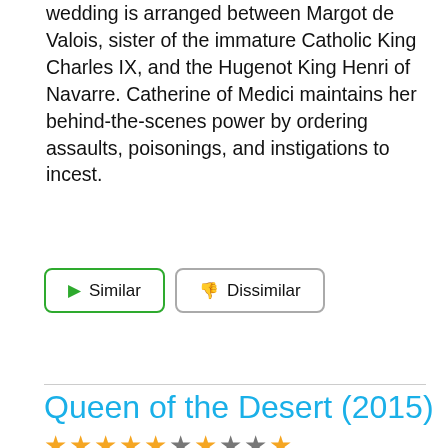wedding is arranged between Margot de Valois, sister of the immature Catholic King Charles IX, and the Hugenot King Henri of Navarre. Catherine of Medici maintains her behind-the-scenes power by ordering assaults, poisonings, and instigations to incest.
▶ Similar   👎 Dissimilar
Queen of the Desert (2015)
★★★★★☆★★★★ (star rating)
[Figure (photo): Movie still from Queen of the Desert (2015) showing a person wearing a grey head covering with desert landscape in the background.]